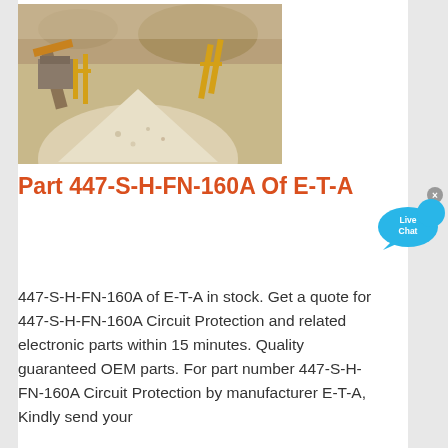[Figure (photo): Aerial/angled view of a quarry or aggregate processing facility with a large pile of crushed gravel/stone, yellow conveyor structures and machinery in sandy/arid environment]
Part 447-S-H-FN-160A Of E-T-A
447-S-H-FN-160A of E-T-A in stock. Get a quote for 447-S-H-FN-160A Circuit Protection and related electronic parts within 15 minutes. Quality guaranteed OEM parts. For part number 447-S-H-FN-160A Circuit Protection by manufacturer E-T-A, Kindly send your